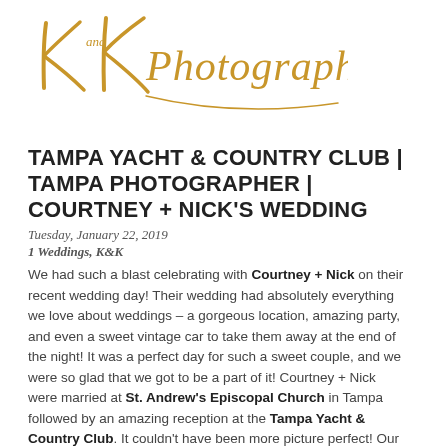[Figure (logo): K and K Photography handwritten script logo in gold/amber color]
TAMPA YACHT & COUNTRY CLUB | TAMPA PHOTOGRAPHER | COURTNEY + NICK'S WEDDING
Tuesday, January 22, 2019
1 Weddings, K&K
We had such a blast celebrating with Courtney + Nick on their recent wedding day!  Their wedding had absolutely everything we love about weddings – a gorgeous location, amazing party, and even a sweet vintage car to take them away at the end of the night!  It was a perfect day for such a sweet couple, and we were so glad that we got to be a part of it!  Courtney + Nick were married at St. Andrew's Episcopal Church in Tampa followed by an amazing reception at the Tampa Yacht & Country Club.  It couldn't have been more picture perfect!  Our Master Photographer